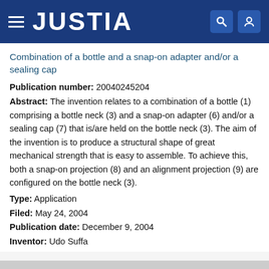JUSTIA
Combination of a bottle and a snap-on adapter and/or a sealing cap
Publication number: 20040245204
Abstract: The invention relates to a combination of a bottle (1) comprising a bottle neck (3) and a snap-on adapter (6) and/or a sealing cap (7) that is/are held on the bottle neck (3). The aim of the invention is to produce a structural shape of great mechanical strength that is easy to assemble. To achieve this, both a snap-on projection (8) and an alignment projection (9) are configured on the bottle neck (3).
Type: Application
Filed: May 24, 2004
Publication date: December 9, 2004
Inventor: Udo Suffa